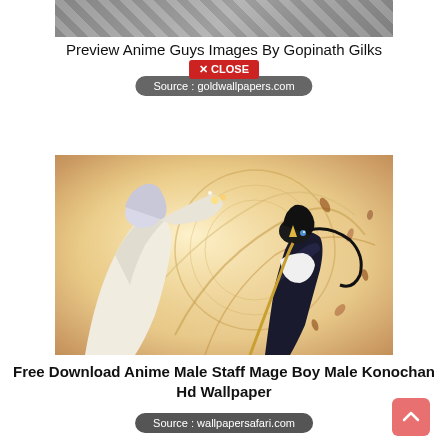[Figure (illustration): Cropped top portion of an anime-style image showing a checkered/abstract dark background]
Preview Anime Guys Images By Gopinath Gilks
✕ CLOSE
Source : goldwallpapers.com
[Figure (illustration): Anime artwork showing two male characters with dark hair in dynamic action poses, surrounded by golden swirling energy effects and falling leaves/petals on a warm-toned background]
Free Download Anime Male Staff Mage Boy Male Konochan Hd Wallpaper
Source : wallpapersafari.com